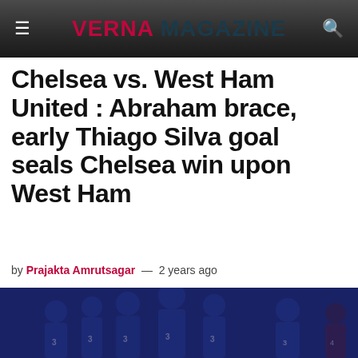VERNA MAGAZINE
Chelsea vs. West Ham United : Abraham brace, early Thiago Silva goal seals Chelsea win upon West Ham
by Prajakta Amrutsagar — 2 years ago
[Figure (photo): Chelsea football players in blue jerseys celebrating on a dark pitch, several players embracing and shouting in celebration]